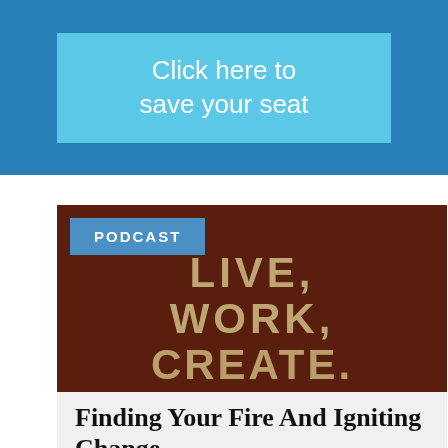[Figure (other): Blue banner with light blue button containing text 'Click here to save your seat']
[Figure (photo): Dark brown/red brick wall with stenciled text reading 'LIVE, WORK, CREATE.' with a blue 'PODCAST' badge in the upper left]
Finding Your Fire And Igniting Change